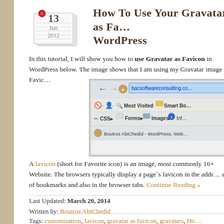How To Use Your Gravatar as Favicon in WordPress
In this tutorial, I will show you how to use Gravatar as Favicon in WordPress below. The image shows that I am using my Gravatar image as Favicon.
[Figure (screenshot): Browser screenshot showing a tab with a Gravatar image as favicon, address bar showing bacsoftwareconsulting.com, bookmarks toolbar with Most Visited, Smart Bo, CSS, Forms, Images, Inf, and a tab labeled Boutros AbiChedid - WordPress, Web]
A favicon (short for Favorite icon) is an image, most commonly 16× Website. The browsers typically display a page´s favicon in the addr a list of bookmarks and also in the browser tabs. Continue Reading »
Last Updated: March 20, 2014
Written by: Boutros AbiChedid
Tags: customization, favicon, gravatar as favicon, gravatars, Ho WordPress def...